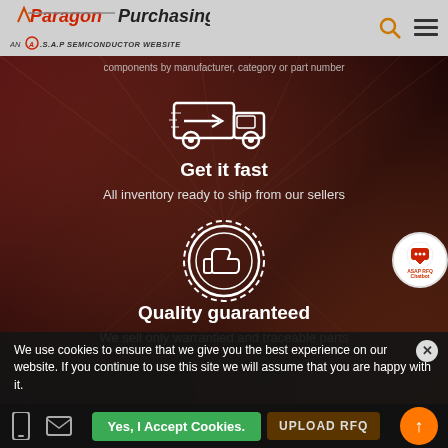Paragon Purchasing — AN A.S.A.P SEMICONDUCTOR WEBSITE
components by manufacturer, category or part number
[Figure (illustration): White icon of a delivery truck with an arrow on a dark red/brown blurred highway background]
Get it fast
All inventory ready to ship from our sellers
[Figure (illustration): White circular badge icon with a thumbs up hand on a dark red/brown blurred highway background]
Quality guaranteed
We sell only warrantied and traceable parts
We use cookies to ensure that we give you the best experience on our website. If you continue to use this site we will assume that you are happy with it.
Yes, I Accept Cookies.  UPLOAD RFQ